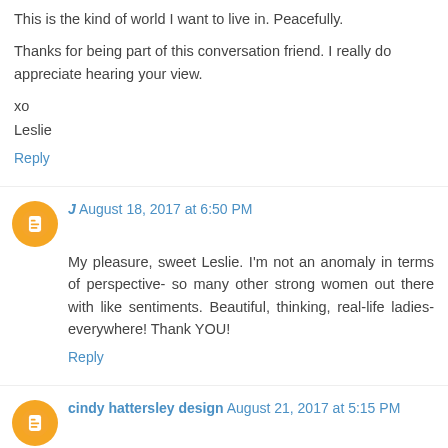This is the kind of world I want to live in. Peacefully.
Thanks for being part of this conversation friend. I really do appreciate hearing your view.
xo
Leslie
Reply
J August 18, 2017 at 6:50 PM
My pleasure, sweet Leslie. I'm not an anomaly in terms of perspective- so many other strong women out there with like sentiments. Beautiful, thinking, real-life ladies-everywhere! Thank YOU!
Reply
cindy hattersley design August 21, 2017 at 5:15 PM